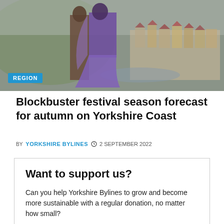[Figure (photo): Two people in Victorian-style costumes including a large purple dress walking outdoors, with Whitby coastal town visible in the background]
Blockbuster festival season forecast for autumn on Yorkshire Coast
BY YORKSHIRE BYLINES  2 SEPTEMBER 2022
Want to support us?

Can you help Yorkshire Bylines to grow and become more sustainable with a regular donation, no matter how small?

DONATE